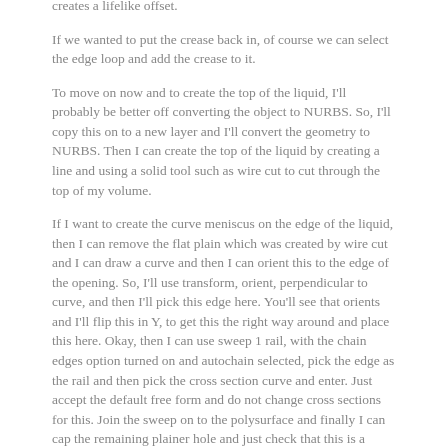creates a lifelike offset.
If we wanted to put the crease back in, of course we can select the edge loop and add the crease to it.
To move on now and to create the top of the liquid, I'll probably be better off converting the object to NURBS.  So, I'll copy this on to a new layer and I'll convert the geometry to NURBS.  Then I can create the top of the liquid by creating a line and using a solid tool such as wire cut to cut through the top of my volume.
If I want to create the curve meniscus on the edge of the liquid, then I can remove the flat plain which was created by wire cut and I can draw a curve and then I can orient this to the edge of the opening.  So, I'll use transform, orient, perpendicular to curve, and then I'll pick this edge here.  You'll see that orients and I'll flip this in Y, to get this the right way around and place this here.  Okay, then I can use sweep 1 rail, with the chain edges option turned on and autochain selected, pick the edge as the rail and then pick the cross section curve and enter.  Just accept the default free form and do not change cross sections for this.  Join the sweep on to the polysurface and finally I can cap the remaining plainer hole and just check that this is a closed solid polysurface.